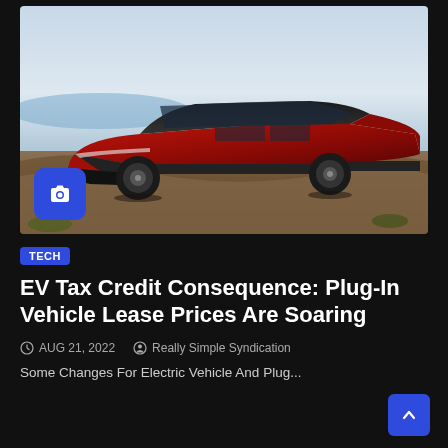[Figure (photo): Red Toyota bZ4X electric SUV parked on a rocky hillside with ocean and sky in background, with a camera icon overlay in the bottom left]
TECH
EV Tax Credit Consequence: Plug-In Vehicle Lease Prices Are Soaring
AUG 21, 2022   Really Simple Syndication
Some Changes For Electric Vehicle And Plug...